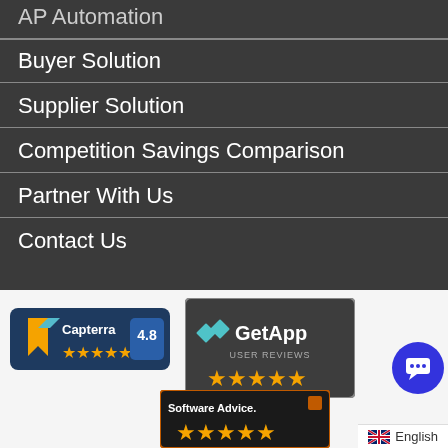AP Automation
Buyer Solution
Supplier Solution
Competition Savings Comparison
Partner With Us
Contact Us
[Figure (logo): Capterra badge showing 4.8 rating with 5 orange stars on dark blue background]
[Figure (logo): GetApp User Reviews badge with teal diamond logo and 5 orange stars on dark background]
[Figure (logo): Software Advice badge with 5 orange stars on dark background]
English